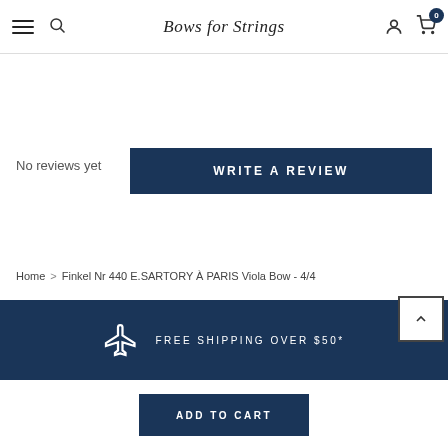Bows for Strings
No reviews yet
WRITE A REVIEW
Home > Finkel Nr 440 E.SARTORY À PARIS Viola Bow - 4/4
FREE SHIPPING OVER $50*
ADD TO CART